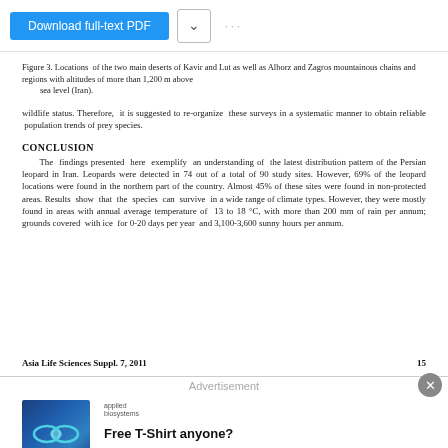Figure 3. Locations of the two main deserts of Kavir and Lut as well as Alborz and Zagros mountainous chains and regions with altitudes of more than 1,200 m above sea level (Iran).
wildlife status. Therefore, it is suggested to re-organize these surveys in a systematic manner to obtain reliable population trends of prey species.
CONCLUSION
The findings presented here exemplify an understanding of the latest distribution pattern of the Persian leopard in Iran. Leopards were detected in 74 out of a total of 90 study sites. However, 69% of the leopard locations were found in the northern part of the country. Almost 45% of these sites were found in non-protected areas. Results show that the species can survive in a wide range of climate types. However, they were mostly found in areas with annual average temperature of 13 to 18 °C, with more than 200 mm of rain per annum; grounds covered with ice for 0-20 days per year and 3,100-3,600 sunny hours per annum.
Asia Life Sciences Suppl. 7, 2011                                                      15